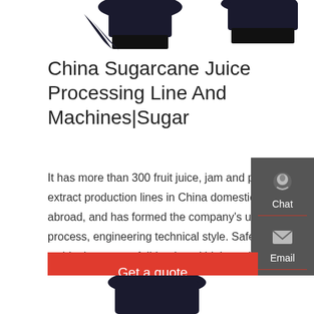[Figure (photo): Top portion of sugarcane juice processing machine, dark colored equipment visible at top of page]
China Sugarcane Juice Processing Line And Machines|Sugar
It has more than 300 fruit juice, jam and plant extract production lines in China domestic and abroad, and has formed the company's unique process, engineering technical style. Safe, stable, long-term, full-load, and high-quality operation is the basic principle of production line supplied by SHJUMP. 2).
[Figure (screenshot): Sidebar panel with Chat, Email, and Contact icons on dark gray background]
Get a quote
[Figure (photo): Bottom portion of sugarcane juice processing machine equipment]